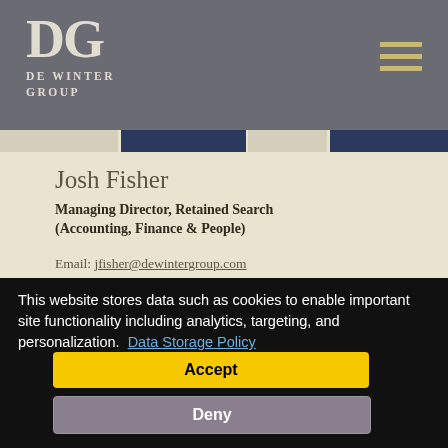De Winter Group
Josh Fisher
Managing Director, Retained Search (Accounting, Finance & People)
Email: jfisher@dewintergroup.com
This website stores data such as cookies to enable important site functionality including analytics, targeting, and personalization. Data Storage Policy
Accept
Deny